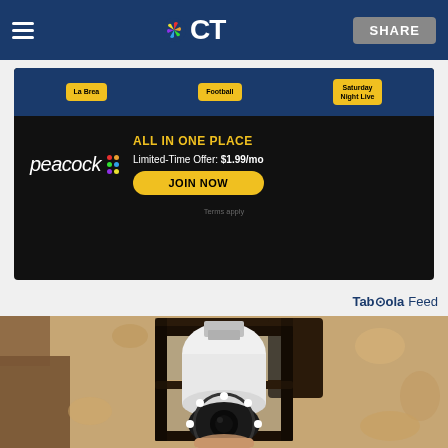NBC CT — hamburger menu, NBC CT logo, SHARE button
[Figure (screenshot): Peacock streaming service advertisement: ALL IN ONE PLACE, Limited-Time Offer: $1.99/mo, JOIN NOW button. Dark background with Peacock logo and multi-colored dots. Top bar shows La Brea, Football, Saturday Night Live tabs.]
Taboola Feed
[Figure (photo): Close-up photo of a light bulb security camera being inserted into an outdoor wall-mounted lantern fixture on a stucco wall. The camera looks like a standard bulb but has a lens and LED ring at the bottom.]